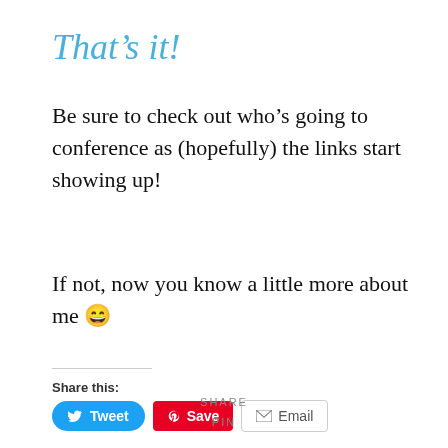That’s it!
Be sure to check out who’s going to conference as (hopefully) the links start showing up!
If not, now you know a little more about me 😄
Share this:
[Figure (other): Social share buttons: Tweet (blue, Twitter bird icon), Save (red, Pinterest icon), Email (grey, envelope icon)]
SHARE
PIN